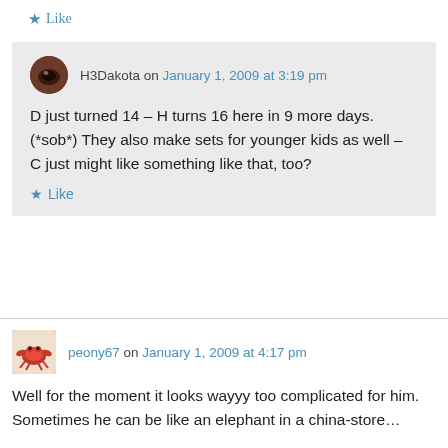★ Like
H3Dakota on January 1, 2009 at 3:19 pm
D just turned 14 – H turns 16 here in 9 more days. (*sob*) They also make sets for younger kids as well – C just might like something like that, too?
★ Like
peony67 on January 1, 2009 at 4:17 pm
Well for the moment it looks wayyy too complicated for him. Sometimes he can be like an elephant in a china-store…